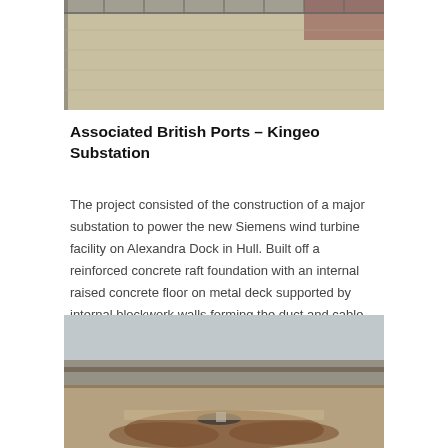[Figure (photo): Aerial or ground-level view of a gravel/aggregate surface area near a fence and brick wall, associated with a construction site.]
Associated British Ports – Kingeo Substation
The project consisted of the construction of a major substation to power the new Siemens wind turbine facility on Alexandra Dock in Hull. Built off a reinforced concrete raft foundation with an internal  raised concrete floor on metal deck supported by internal blockwork walls forming the duct and cable trenches.  External walls were traditional masonry [...]
[Figure (photo): Outdoor landscape/park scene with circular paths, bare trees, overcast sky, and a group of people standing near a central structure.]